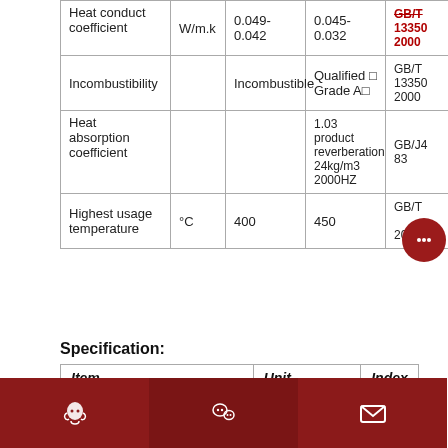|  |  |  |  | GB/T |
| --- | --- | --- | --- | --- |
| Heat conduct coefficient | W/m.k | 0.049-0.042 | 0.045-0.032 | GB/T 13350 2000 |
| Incombustibility |  | Incombustible | Qualified □ Grade A□ | GB/T 13350 2000 |
| Heat absorption coefficient |  |  | 1.03 product reverberation 24kg/m3 2000HZ | GB/J4 83 |
| Highest usage temperature | °C | 400 | 450 | GB/T 2000 |
Specification:
| Item | Unit | Index |
| --- | --- | --- |
[Figure (other): Dark red circular chat button with ellipsis icon]
[Figure (other): Bottom bar with three dark red buttons: QQ bell icon, WeChat icon, email icon]